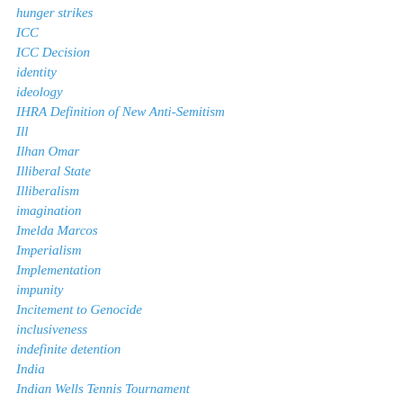hunger strikes
ICC
ICC Decision
identity
ideology
IHRA Definition of New Anti-Semitism
Ill
Ilhan Omar
Illiberal State
Illiberalism
imagination
Imelda Marcos
Imperialism
Implementation
impunity
Incitement to Genocide
inclusiveness
indefinite detention
India
Indian Wells Tennis Tournament